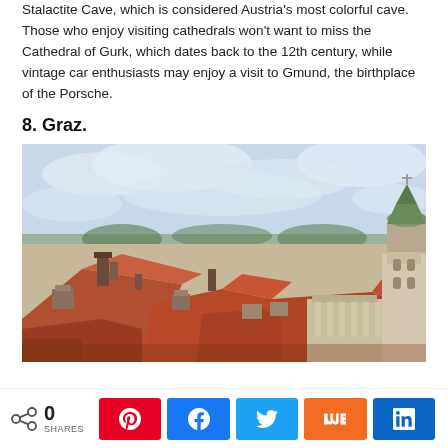Stalactite Cave, which is considered Austria's most colorful cave. Those who enjoy visiting cathedrals won't want to miss the Cathedral of Gurk, which dates back to the 12th century, while vintage car enthusiasts may enjoy a visit to Gmund, the birthplace of the Porsche.
8. Graz.
[Figure (photo): Aerial rooftop view of Graz city with terracotta/orange tiled rooftops, chimneys, a baroque church tower on the right, cloudy sky, and green hills in the background.]
0 SHARES  [Pinterest] [Facebook] [Twitter] [Mix] [LinkedIn]